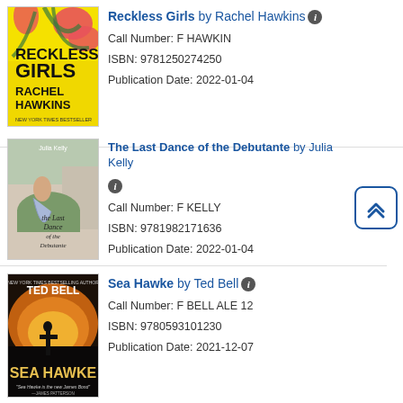[Figure (illustration): Book cover of Reckless Girls by Rachel Hawkins - yellow background with pink hibiscus flowers and palm leaves]
Reckless Girls by Rachel Hawkins
Call Number: F HAWKIN
ISBN: 9781250274250
Publication Date: 2022-01-04
[Figure (illustration): Book cover of The Last Dance of the Debutante by Julia Kelly - woman in blue dress in an elegant setting]
The Last Dance of the Debutante by Julia Kelly
Call Number: F KELLY
ISBN: 9781982171636
Publication Date: 2022-01-04
[Figure (illustration): Book cover of Sea Hawke by Ted Bell - dark dramatic cover with action scene]
Sea Hawke by Ted Bell
Call Number: F BELL ALE 12
ISBN: 9780593101230
Publication Date: 2021-12-07